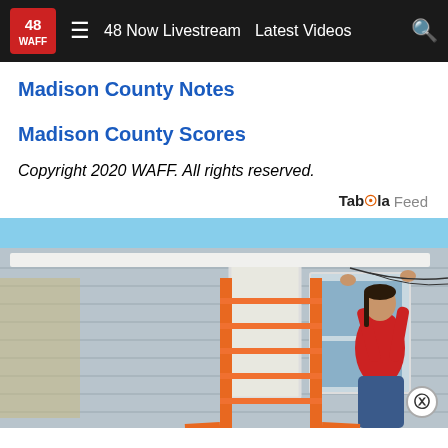48 WAFF | 48 Now Livestream | Latest Videos
Madison County Notes
Madison County Scores
Copyright 2020 WAFF. All rights reserved.
Taboola Feed
[Figure (photo): Person in red shirt and jeans working on the exterior siding of a house, arms raised, next to an orange ladder. Blue sky in background.]